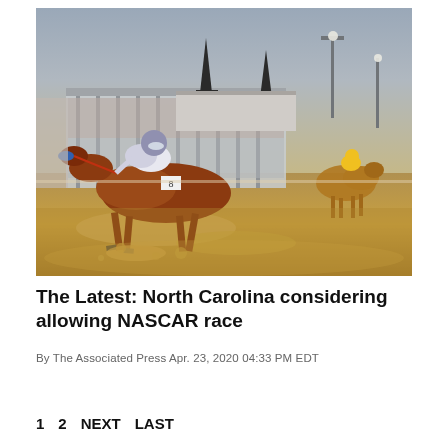[Figure (photo): Horse racing scene at a wet track, likely Kentucky Derby. A chestnut horse with jockey in white and purple silks leads the race in the foreground, splashing through muddy water. Another horse with yellow and black silks is visible in the background right. Grandstand packed with spectators in the background, twin spires of Churchill Downs visible. Overcast rainy conditions.]
The Latest: North Carolina considering allowing NASCAR race
By The Associated Press Apr. 23, 2020 04:33 PM EDT
1
2
NEXT
LAST